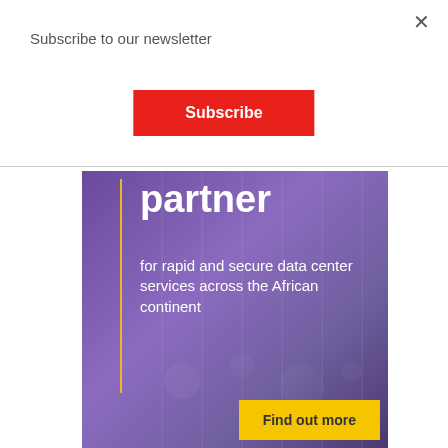×
Subscribe to our newsletter
Subscribe
[Figure (illustration): Purple data center advertisement banner with yellow vertical accent line, bold white text reading 'partner' followed by 'for rapid and secure data center services across the African continent', and a yellow 'Find out more' button at bottom right. Background shows abstract tech/server imagery in purple tones.]